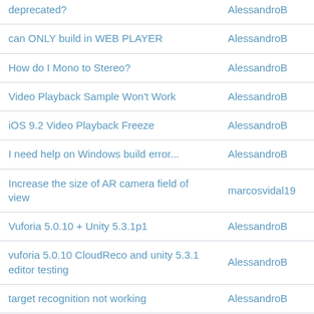| Topic | Author |
| --- | --- |
| deprecated? | AlessandroB |
| can ONLY build in WEB PLAYER | AlessandroB |
| How do I Mono to Stereo? | AlessandroB |
| Video Playback Sample Won't Work | AlessandroB |
| iOS 9.2 Video Playback Freeze | AlessandroB |
| I need help on Windows build error... | AlessandroB |
| Increase the size of AR camera field of view | marcosvidal19 |
| Vuforia 5.0.10 + Unity 5.3.1p1 | AlessandroB |
| vuforia 5.0.10 CloudReco and unity 5.3.1 editor testing | AlessandroB |
| target recognition not working | AlessandroB |
| failed to load QCARWrapper.dll | medabit |
| Unity 5.3 + Eyewear Tutorial steps | AlessandroB |